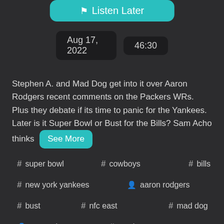[Figure (screenshot): Listen Later button (teal/cyan rounded rectangle with bookmark icon)]
Aug 17, 2022   46:30
Stephen A. and Mad Dog get into it over Aaron Rodgers recent comments on the Packers WRs. Plus they debate if its time to panic for the Yankees. Later is it Super Bowl or Bust for the Bills? Sam Acho thinks
See More
# super bowl   # cowboys   # bills
# new york yankees   🧍 aaron rodgers
# bust   # nfc east   # mad dog
🧍 sam acho   # stanky